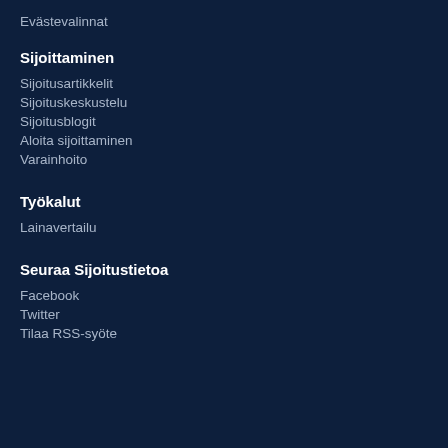Evästevalinnat
Sijoittaminen
Sijoitusartikkelit
Sijoituskeskustelu
Sijoitusblogit
Aloita sijoittaminen
Varainhoito
Työkalut
Lainavertailu
Seuraa Sijoitustietoa
Facebook
Twitter
Tilaa RSS-syöte